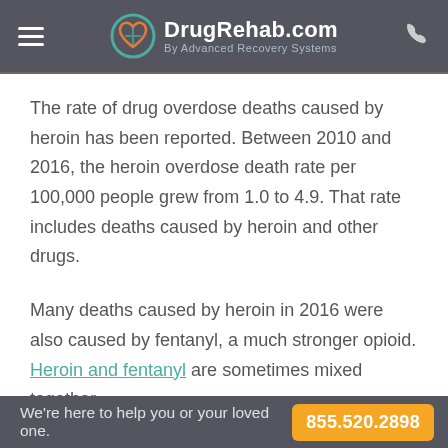DrugRehab.com By Advanced Recovery Systems
The rate of drug overdose deaths caused by heroin has been reported. Between 2010 and 2016, the heroin overdose death rate per 100,000 people grew from 1.0 to 4.9. That rate includes deaths caused by heroin and other drugs.
Many deaths caused by heroin in 2016 were also caused by fentanyl, a much stronger opioid. Heroin and fentanyl are sometimes mixed together
We're here to help you or your loved one. 855.520.2898